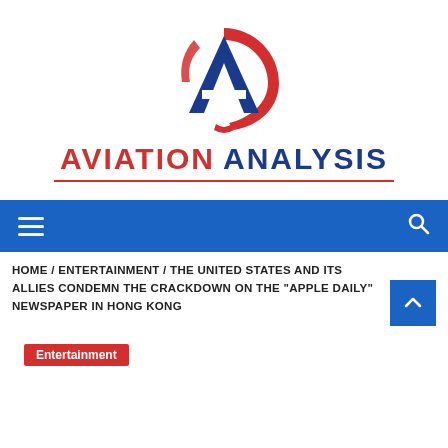[Figure (logo): Aviation Analysis logo: stylized letter A in blue with a red swoosh arc, above the text 'AVIATION ANALYSIS' in red and blue bold uppercase letters with a red underline]
Navigation bar with hamburger menu icon and search icon on blue background
HOME / ENTERTAINMENT / THE UNITED STATES AND ITS ALLIES CONDEMN THE CRACKDOWN ON THE "APPLE DAILY" NEWSPAPER IN HONG KONG
Entertainment